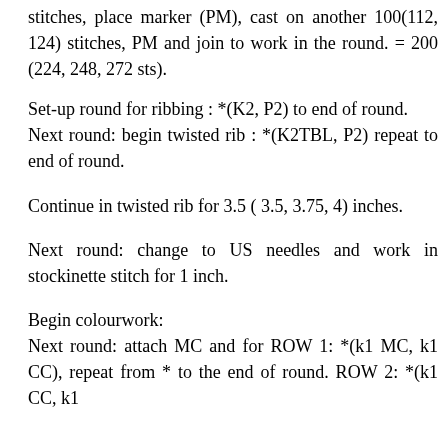stitches, place marker (PM), cast on another 100(112, 124) stitches, PM and join to work in the round. = 200 (224, 248, 272 sts).
Set-up round for ribbing : *(K2, P2) to end of round. Next round: begin twisted rib : *(K2TBL, P2) repeat to end of round.
Continue in twisted rib for 3.5 ( 3.5, 3.75, 4) inches.
Next round: change to US needles and work in stockinette stitch for 1 inch.
Begin colourwork:
Next round: attach MC and for ROW 1: *(k1 MC, k1 CC), repeat from * to the end of round. ROW 2: *(k1 CC, k1